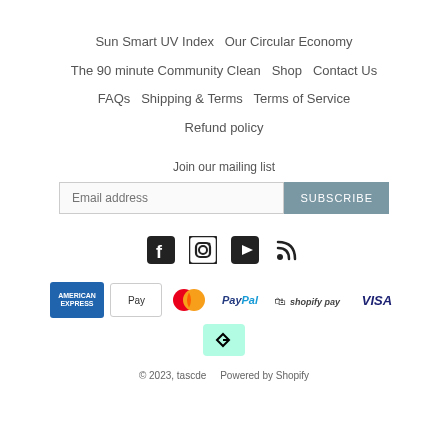Sun Smart UV Index  Our Circular Economy  The 90 minute Community Clean  Shop  Contact Us  FAQs  Shipping & Terms  Terms of Service  Refund policy
Join our mailing list
[Figure (other): Email address input field with SUBSCRIBE button]
[Figure (other): Social media icons: Facebook, Instagram, YouTube, RSS]
[Figure (other): Payment method icons: American Express, Apple Pay, Mastercard, PayPal, Shopify Pay, Visa, Afterpay]
© 2023, tascde   Powered by Shopify